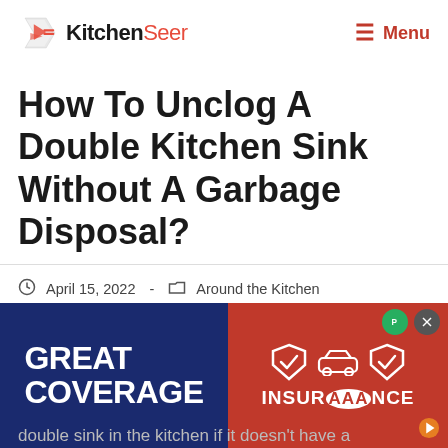KitchenSeer — Menu
How To Unclog A Double Kitchen Sink Without A Garbage Disposal?
April 15, 2022 - Around the Kitchen
A garbage disposal unit attached to a double
[Figure (illustration): AAA Insurance advertisement banner with 'GREAT COVERAGE' text on blue background and insurance icons on red background]
double sink in the kitchen if it doesn't have a